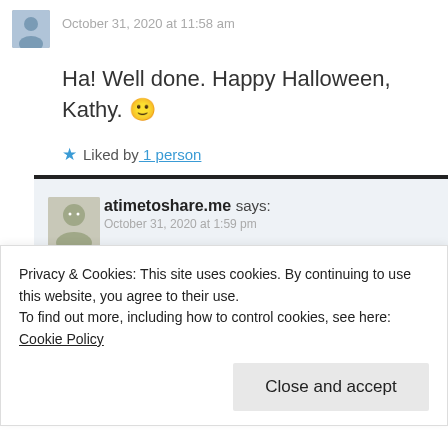October 31, 2020 at 11:58 am
Ha! Well done. Happy Halloween, Kathy. 🙂
Liked by 1 person
atimetoshare.me says: October 31, 2020 at 1:59 pm
Happy Halloween back at you.
Liked by 1 person
Privacy & Cookies: This site uses cookies. By continuing to use this website, you agree to their use. To find out more, including how to control cookies, see here: Cookie Policy
Close and accept